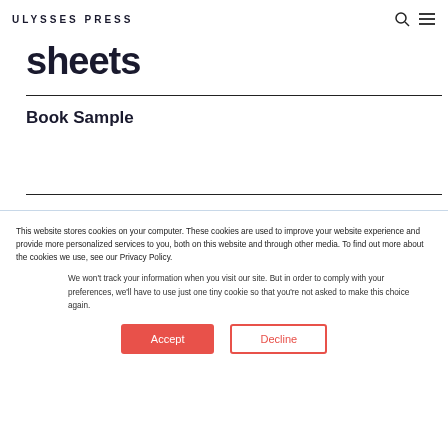ULYSSES PRESS
sheets
Book Sample
This website stores cookies on your computer. These cookies are used to improve your website experience and provide more personalized services to you, both on this website and through other media. To find out more about the cookies we use, see our Privacy Policy.
We won't track your information when you visit our site. But in order to comply with your preferences, we'll have to use just one tiny cookie so that you're not asked to make this choice again.
Accept
Decline